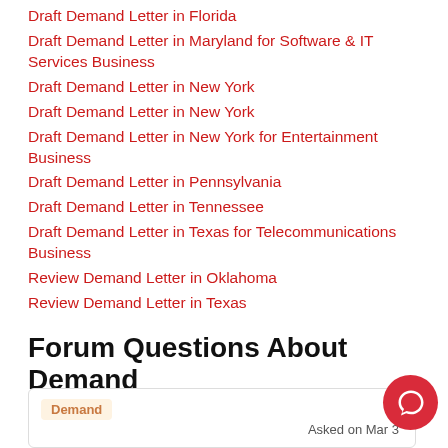Draft Demand Letter in Florida
Draft Demand Letter in Maryland for Software & IT Services Business
Draft Demand Letter in New York
Draft Demand Letter in New York
Draft Demand Letter in New York for Entertainment Business
Draft Demand Letter in Pennsylvania
Draft Demand Letter in Tennessee
Draft Demand Letter in Texas for Telecommunications Business
Review Demand Letter in Oklahoma
Review Demand Letter in Texas
Forum Questions About Demand Letter
Demand
Asked on Mar 3